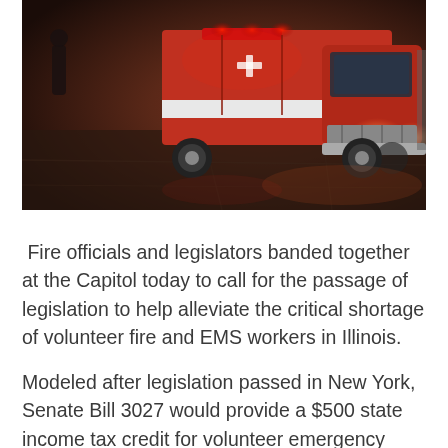[Figure (photo): Night-time photo of a red fire/EMS ambulance truck with headlights on, parked on a concrete surface. A person in dark clothing is visible in the background.]
Fire officials and legislators banded together at the Capitol today to call for the passage of legislation to help alleviate the critical shortage of volunteer fire and EMS workers in Illinois.
Modeled after legislation passed in New York, Senate Bill 3027 would provide a $500 state income tax credit for volunteer emergency workers, who earn less than $10,000